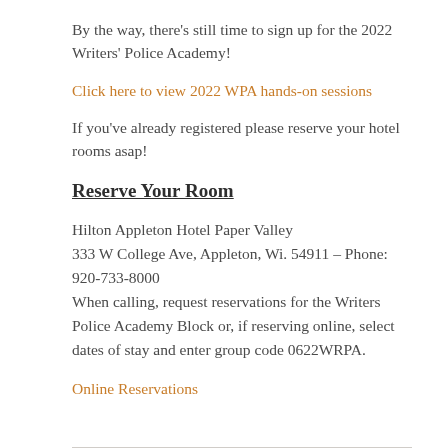By the way, there's still time to sign up for the 2022 Writers' Police Academy!
Click here to view 2022 WPA hands-on sessions
If you've already registered please reserve your hotel rooms asap!
Reserve Your Room
Hilton Appleton Hotel Paper Valley
333 W College Ave, Appleton, Wi. 54911 – Phone: 920-733-8000
When calling, request reservations for the Writers Police Academy Block or, if reserving online, select dates of stay and enter group code 0622WRPA.
Online Reservations